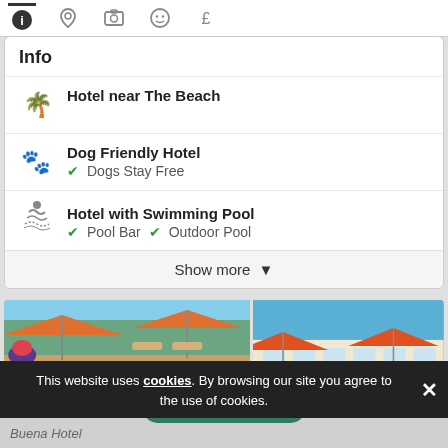[Figure (screenshot): Navigation icon bar with info, location, camera, smiley, and pound sign icons]
Info
Hotel near The Beach
Dog Friendly Hotel — Dogs Stay Free
Hotel with Swimming Pool — Pool Bar, Outdoor Pool
Show more
[Figure (photo): Two hotel photos side by side: left shows a blue outdoor swimming pool with orange umbrellas and flowers; right shows the hotel exterior (Bueno Hotel) with orange umbrellas]
Categories
This website uses cookies. By browsing our site you agree to the use of cookies.
Buena Hotel